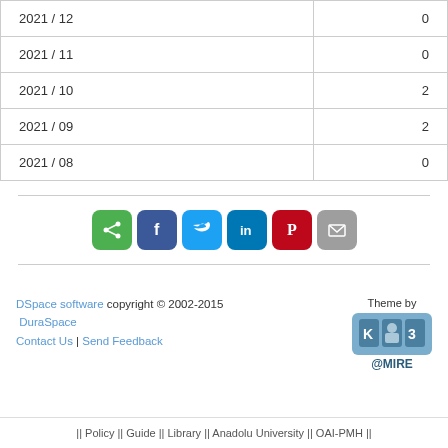| Period | Count |
| --- | --- |
| 2021 / 12 | 0 |
| 2021 / 11 | 0 |
| 2021 / 10 | 2 |
| 2021 / 09 | 2 |
| 2021 / 08 | 0 |
[Figure (other): Social sharing icon buttons: share, Facebook, Twitter, LinkedIn, Pinterest, Email]
DSpace software copyright © 2002-2015  DuraSpace
Contact Us | Send Feedback
Theme by @MIRE
|| Policy || Guide || Library || Anadolu University || OAI-PMH ||